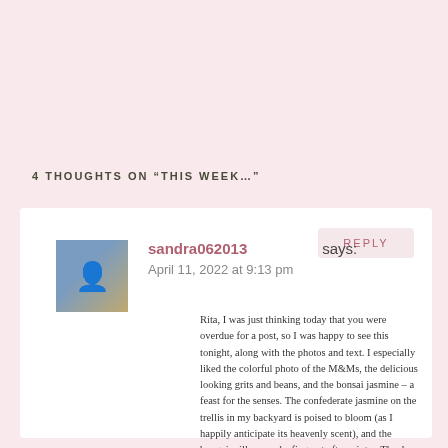4 THOUGHTS ON “THIS WEEK…”
sandra062013 says:
April 11, 2022 at 9:13 pm
Rita, I was just thinking today that you were overdue for a post, so I was happy to see this tonight, along with the photos and text. I especially liked the colorful photo of the M&Ms, the delicious looking grits and beans, and the bonsai jasmine – a feast for the senses. The confederate jasmine on the trellis in my backyard is poised to bloom (as I happily anticipate its heavenly scent), and the bougainvilleas are leafing out after winter. Thank you for sharing your gratitude, as it reminds me to bask in mine.